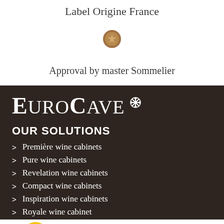Label Origine France
[Figure (illustration): Brown medal/ribbon award icon]
Approval by master Sommelier
[Figure (logo): EuroCave logo with snowflake symbol on dark brown background]
OUR SOLUTIONS
Première wine cabinets
Pure wine cabinets
Revelation wine cabinets
Compact wine cabinets
Inspiration wine cabinets
Royale wine cabinet
Wine cabinets dedicated to interior designers
Storage systems and conditioners for wine cellar